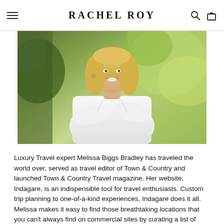RACHEL ROY
[Figure (photo): Portrait photo of a smiling blonde woman with arms crossed, wearing a white button-up shirt, photographed outdoors with green foliage in the background.]
Luxury Travel expert Melissa Biggs Bradley has traveled the world over, served as travel editor of Town & Country and launched Town & Country Travel magazine. Her website, Indagare, is an indispensible tool for travel enthusiasts. Custom trip planning to one-of-a-kind experiences, Indagare does it all.
Melissa makes it easy to find those breathtaking locations that you can't always find on commercial sites by curating a list of Prize-winning travel destinations for you to...